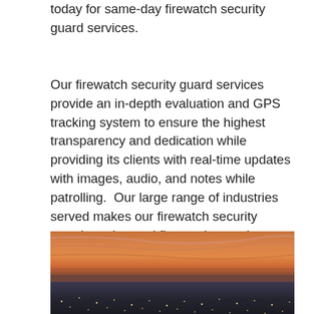today for same-day firewatch security guard services.
Our firewatch security guard services provide an in-depth evaluation and GPS tracking system to ensure the highest transparency and dedication while providing its clients with real-time updates with images, audio, and notes while patrolling.  Our large range of industries served makes our firewatch security guards and armed firewatch security guards very experienced and beneficial when keeping you safe.
[Figure (photo): Aerial photograph of a coastal city at sunset with vibrant orange and pink sky reflecting over the ocean, with city lights visible below]